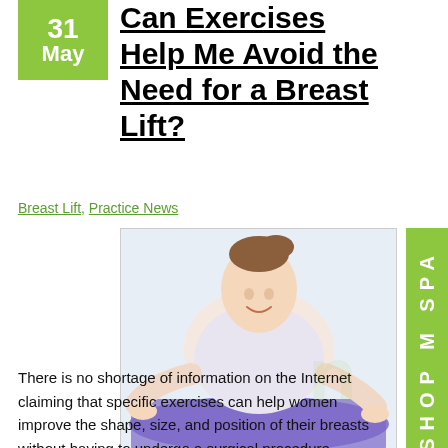31 May
Can Exercises Help Me Avoid the Need for a Breast Lift?
Breast Lift, Practice News
[Figure (photo): Woman in white athletic top doing a plank or push-up exercise on a purple yoga mat, smiling at the camera]
There is no shortage of information on the Internet claiming that specific exercises can help women improve the shape, size, and position of their breasts without having to undergo a surgical procedure. Unfortunately, a great number of these assertions are unsupported. While it's certainly true that